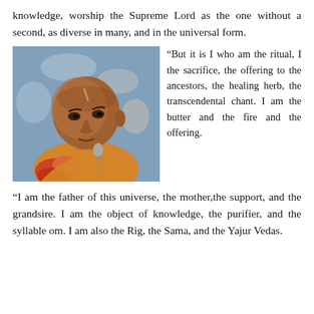knowledge, worship the Supreme Lord as the one without a second, as diverse in many, and in the universal form.
[Figure (photo): Photograph of an elderly Indian spiritual teacher (Srila Prabhupada) speaking near a microphone, wearing saffron robes, with flowers visible.]
“But it is I who am the ritual, I the sacrifice, the offering to the ancestors, the healing herb, the transcendental chant. I am the butter and the fire and the offering.
“I am the father of this universe, the mother,the support, and the grandsire. I am the object of knowledge, the purifier, and the syllable om. I am also the Rig, the Sama, and the Yajur Vedas.